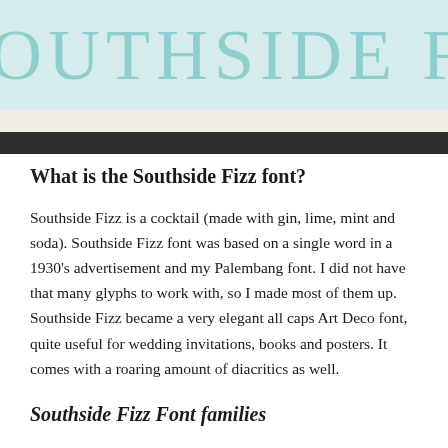[Figure (illustration): Large decorative banner with mint/teal background showing the text 'S. SOUTHSIDE FIZZ' in large light teal Art Deco style letters]
What is the Southside Fizz font?
Southside Fizz is a cocktail (made with gin, lime, mint and soda). Southside Fizz font was based on a single word in a 1930's advertisement and my Palembang font. I did not have that many glyphs to work with, so I made most of them up. Southside Fizz became a very elegant all caps Art Deco font, quite useful for wedding invitations, books and posters. It comes with a roaring amount of diacritics as well.
Southside Fizz Font families